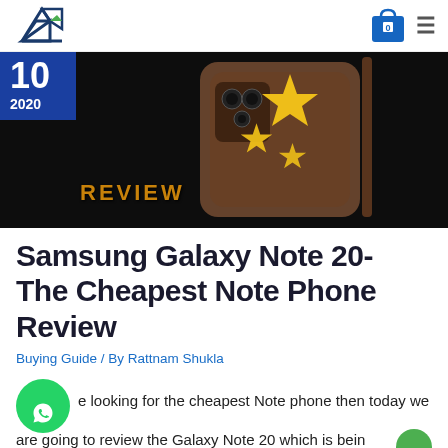[Figure (logo): Website logo - geometric laptop/device icon in dark blue]
[Figure (photo): Hero banner showing Samsung Galaxy Note 20 phone in bronze color with stars rating overlay and a blue date box showing '10 2020', yellow stars, and 'REVIEW' text in orange]
Samsung Galaxy Note 20- The Cheapest Note Phone Review
Buying Guide / By Rattnam Shukla
If you are looking for the cheapest Note phone then today we are going to review the Galaxy Note 20 which is being told as the lowest cost alternative to the Note 20 Ultra. If